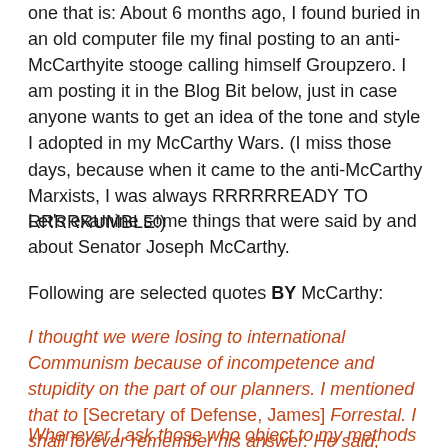one that is: About 6 months ago, I found buried in an old computer file my final posting to an anti-McCarthyite stooge calling himself Groupzero. I am posting it in the Blog Bit below, just in case anyone wants to get an idea of the tone and style I adopted in my McCarthy Wars. (I miss those days, because when it came to the anti-McCarthy Marxists, I was always RRRRRREADY TO RRRRRUMBLE!)
Let's examine some things that were said by and about Senator Joseph McCarthy.
Following are selected quotes BY McCarthy:
I thought we were losing to international Communism because of incompetence and stupidity on the part of our planners. I mentioned that to [Secretary of Defense, James] Forrestal. I shall forever remember his answer. He said, "McCarthy, consistency has never been a mark of stupidity. If they were merely stupid they would occasionally make a mistake in our favor."
Whenever I ask those who object to my methods to name